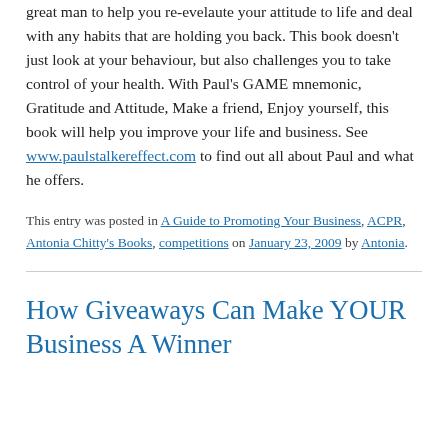Performance coach Paul Stalker is a great man to help you re-evelaute your attitude to life and deal with any habits that are holding you back. This book doesn't just look at your behaviour, but also challenges you to take control of your health. With Paul's GAME mnemonic, Gratitude and Attitude, Make a friend, Enjoy yourself, this book will help you improve your life and business. See www.paulstalkereffect.com to find out all about Paul and what he offers.
This entry was posted in A Guide to Promoting Your Business, ACPR, Antonia Chitty's Books, competitions on January 23, 2009 by Antonia.
How Giveaways Can Make YOUR Business A Winner